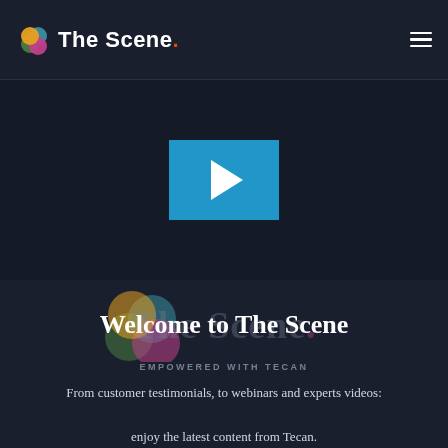[Figure (logo): The Scene logo with colorful overlapping circles (green, teal, pink/magenta, orange) and text 'The Scene.' with orange dot]
[Figure (screenshot): Video player area with dark background and a cyan/blue play button rectangle in center]
[Figure (logo): Large watermark of The Scene logo with overlapping circles and faded 'The Scene' text behind welcome heading]
Welcome to The Scene
EMPOWERED WITH TECAN
From customer testimonials, to webinars and experts videos: enjoy the latest content from Tecan.